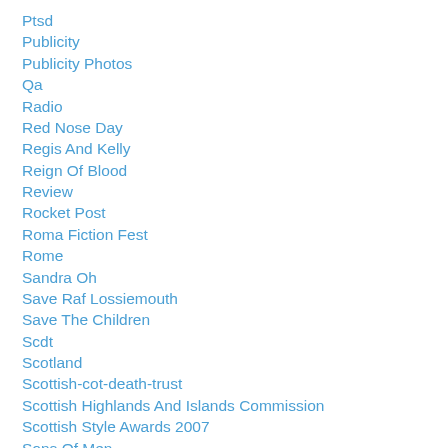Ptsd
Publicity
Publicity Photos
Qa
Radio
Red Nose Day
Regis And Kelly
Reign Of Blood
Review
Rocket Post
Roma Fiction Fest
Rome
Sandra Oh
Save Raf Lossiemouth
Save The Children
Scdt
Scotland
Scottish-cot-death-trust
Scottish Highlands And Islands Commission
Scottish Style Awards 2007
Sons Of Men